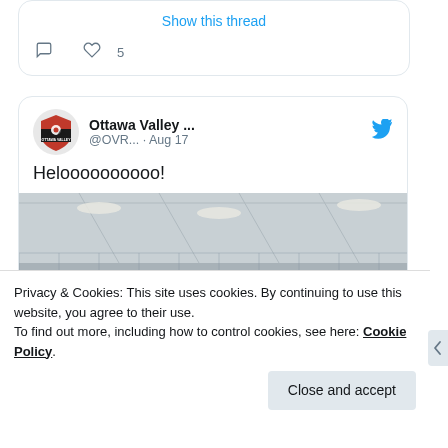Show this thread
[Figure (screenshot): Twitter-style tweet card top portion showing 'Show this thread' link and interaction icons (comment bubble, heart with count 5)]
Ottawa Valley ... @OVR... · Aug 17
Heloooooooooo!
[Figure (photo): Group photo of roller derby players wearing helmets and masks inside an indoor skating rink, posing together]
Privacy & Cookies: This site uses cookies. By continuing to use this website, you agree to their use.
To find out more, including how to control cookies, see here: Cookie Policy
Close and accept